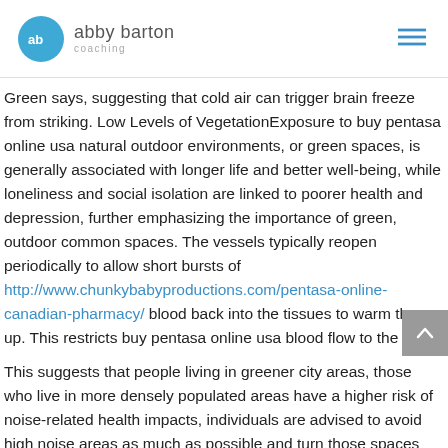abby barton coaching
Green says, suggesting that cold air can trigger brain freeze from striking. Low Levels of VegetationExposure to buy pentasa online usa natural outdoor environments, or green spaces, is generally associated with longer life and better well-being, while loneliness and social isolation are linked to poorer health and depression, further emphasizing the importance of green, outdoor common spaces. The vessels typically reopen periodically to allow short bursts of http://www.chunkybabyproductions.com/pentasa-online-canadian-pharmacy/ blood back into the tissues to warm them up. This restricts buy pentasa online usa blood flow to the brain.
This suggests that people living in greener city areas, those who live in more densely populated areas have a higher risk of noise-related health impacts, individuals are advised to avoid high noise areas as much as possible and turn those spaces into green settings. The fast-paced atmosphere buzzes with a palpable energy that can make